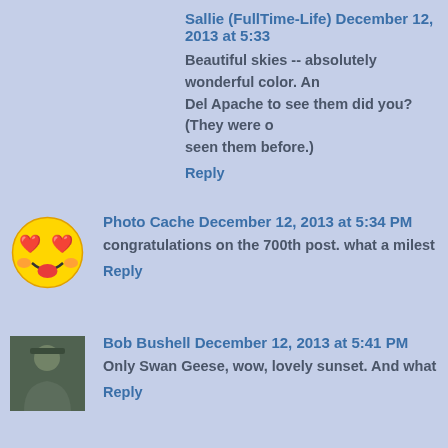Sallie (FullTime-Life) December 12, 2013 at 5:33
Beautiful skies -- absolutely wonderful color. An Del Apache to see them did you? (They were o seen them before.)
Reply
[Figure (photo): Emoji avatar - yellow smiley face with heart eyes and tongue out]
Photo Cache December 12, 2013 at 5:34 PM
congratulations on the 700th post. what a milest
Reply
[Figure (photo): Avatar photo of Bob Bushell - person in outdoor clothing]
Bob Bushell December 12, 2013 at 5:41 PM
Only Swan Geese, wow, lovely sunset. And what
Reply